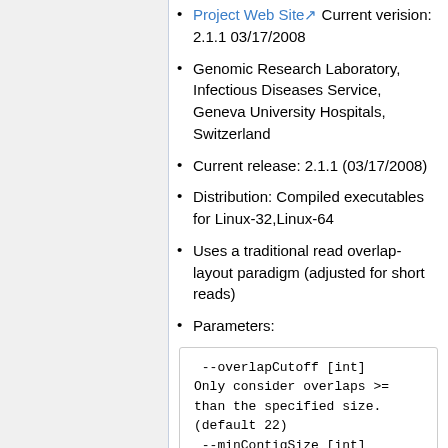Project Web Site Current verision: 2.1.1 03/17/2008
Genomic Research Laboratory, Infectious Diseases Service, Geneva University Hospitals, Switzerland
Current release: 2.1.1 (03/17/2008)
Distribution: Compiled executables for Linux-32,Linux-64
Uses a traditional read overlap-layout paradigm (adjusted for short reads)
Parameters:
--overlapCutoff [int] Only consider overlaps >= than the specified size. (default 22) --minContigSize [int] Minimum size of the contigs to output. (default 100)